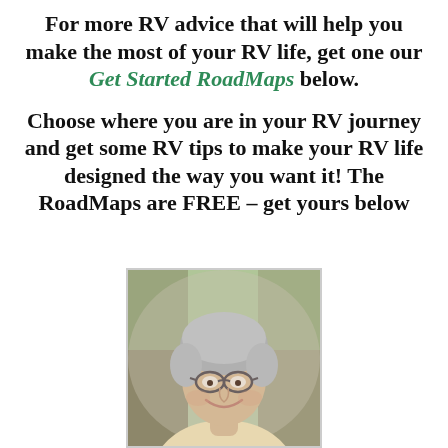For more RV advice that will help you make the most of your RV life, get one our Get Started RoadMaps below.
Choose where you are in your RV journey and get some RV tips to make your RV life designed the way you want it! The RoadMaps are FREE – get yours below
[Figure (photo): An older woman with short gray hair and glasses smiling, photographed outdoors with blurred green trees in the background.]